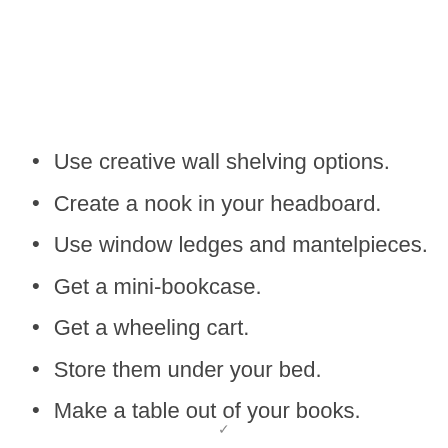Use creative wall shelving options.
Create a nook in your headboard.
Use window ledges and mantelpieces.
Get a mini-bookcase.
Get a wheeling cart.
Store them under your bed.
Make a table out of your books.
✓